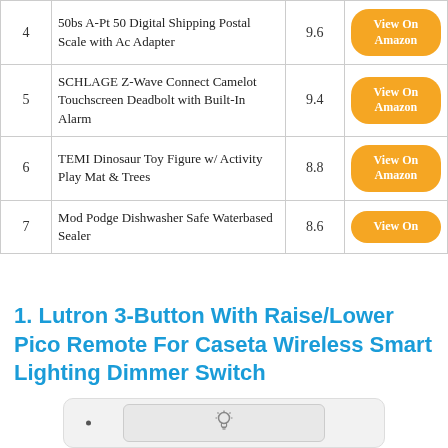| # | Product | Score | Link |
| --- | --- | --- | --- |
| 4 | 50bs A-Pt 50 Digital Shipping Postal Scale with Ac Adapter | 9.6 | View On Amazon |
| 5 | SCHLAGE Z-Wave Connect Camelot Touchscreen Deadbolt with Built-In Alarm | 9.4 | View On Amazon |
| 6 | TEMI Dinosaur Toy Figure w/ Activity Play Mat & Trees | 8.8 | View On Amazon |
| 7 | Mod Podge Dishwasher Safe Waterbased Sealer | 8.6 | View On |
1. Lutron 3-Button With Raise/Lower Pico Remote For Caseta Wireless Smart Lighting Dimmer Switch
[Figure (photo): White Lutron Pico remote control device with a light bulb icon, shown against a white background]